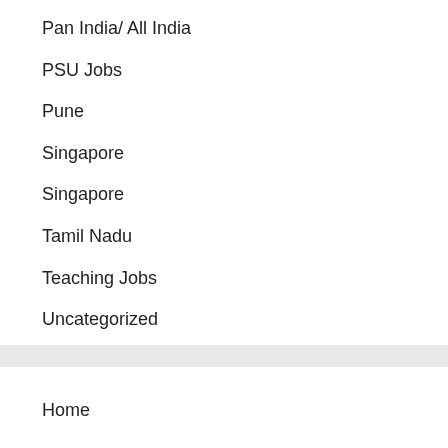Pan India/ All India
PSU Jobs
Pune
Singapore
Singapore
Tamil Nadu
Teaching Jobs
Uncategorized
Vadodara/Baroda
Home